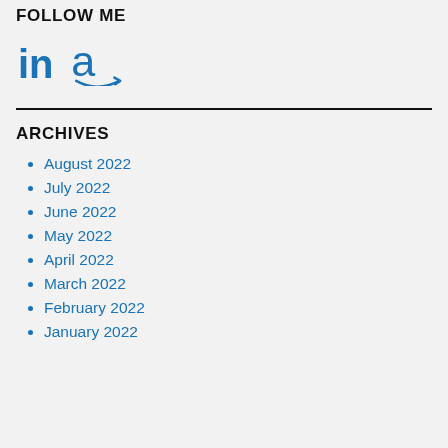FOLLOW ME
[Figure (logo): LinkedIn logo (blue 'in' text) and Amazon logo (blue 'a' with arrow smile) side by side]
ARCHIVES
August 2022
July 2022
June 2022
May 2022
April 2022
March 2022
February 2022
January 2022